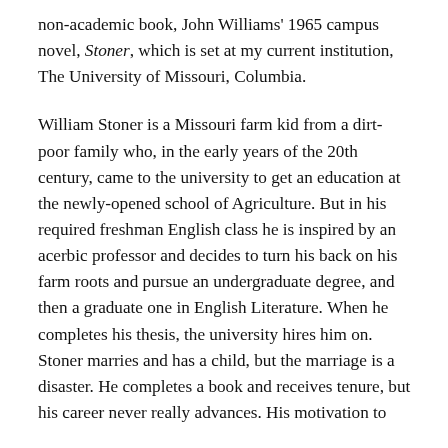non-academic book, John Williams' 1965 campus novel, Stoner, which is set at my current institution, The University of Missouri, Columbia.
William Stoner is a Missouri farm kid from a dirt-poor family who, in the early years of the 20th century, came to the university to get an education at the newly-opened school of Agriculture. But in his required freshman English class he is inspired by an acerbic professor and decides to turn his back on his farm roots and pursue an undergraduate degree, and then a graduate one in English Literature. When he completes his thesis, the university hires him on. Stoner marries and has a child, but the marriage is a disaster. He completes a book and receives tenure, but his career never really advances. His motivation to